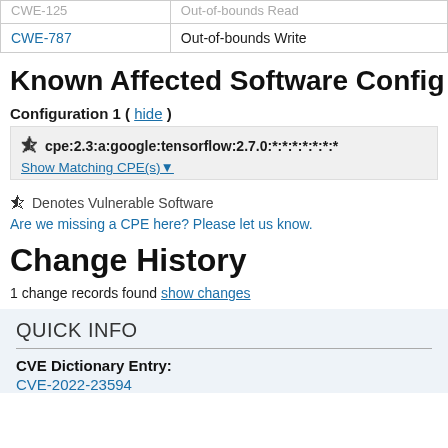|  |  |
| --- | --- |
| CWE-125 (partial, clipped) | Out-of-bounds Read (clipped) |
| CWE-787 | Out-of-bounds Write |
Known Affected Software Config
Configuration 1 ( hide )
cpe:2.3:a:google:tensorflow:2.7.0:*:*:*:*:*:*:*
Show Matching CPE(s)
Denotes Vulnerable Software
Are we missing a CPE here? Please let us know.
Change History
1 change records found show changes
QUICK INFO
CVE Dictionary Entry:
CVE-2022-23594